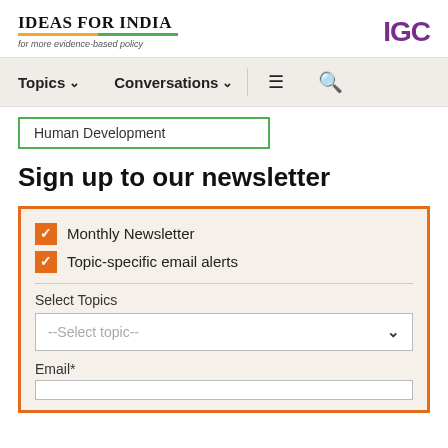[Figure (logo): Ideas for India logo with tagline 'for more evidence-based policy' and IGC logo in purple]
Topics  Conversations  [menu icon] [search icon]
Human Development
Sign up to our newsletter
Monthly Newsletter (checked)
Topic-specific email alerts (checked)
Select Topics
--Select topic--
Email*